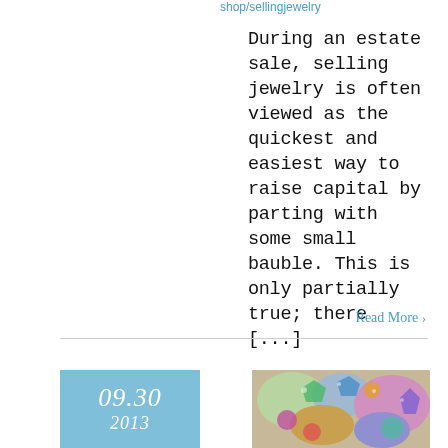shop/sellingjewelry
During an estate sale, selling jewelry is often viewed as the quickest and easiest way to raise capital by parting with some small bauble. This is only partially true; there [...]
Read More >
[Figure (other): Date badge showing 09.30 and partial month number, light blue background]
[Figure (photo): Close-up photo of colorful gemstone jewelry pieces including green, blue, purple and pink stones]